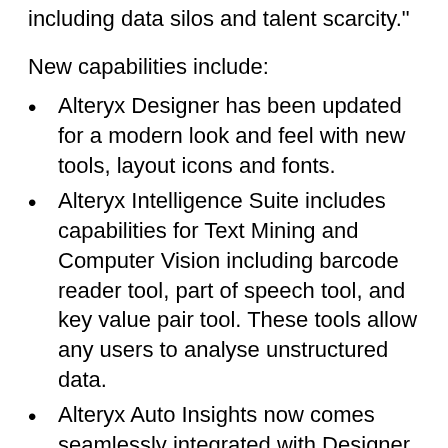including data silos and talent scarcity."
New capabilities include:
Alteryx Designer has been updated for a modern look and feel with new tools, layout icons and fonts.
Alteryx Intelligence Suite includes capabilities for Text Mining and Computer Vision including barcode reader tool, part of speech tool, and key value pair tool. These tools allow any users to analyse unstructured data.
Alteryx Auto Insights now comes seamlessly integrated with Designer Desktop and Server.
Users can now automatically connect, configure and schedule Auto Insights from their workflows to gain AI-driven insights from their data.
Alteryx Machine learning offers substantial enhancements to predictive Time Series Modelling, including new functionality that allows for trending,